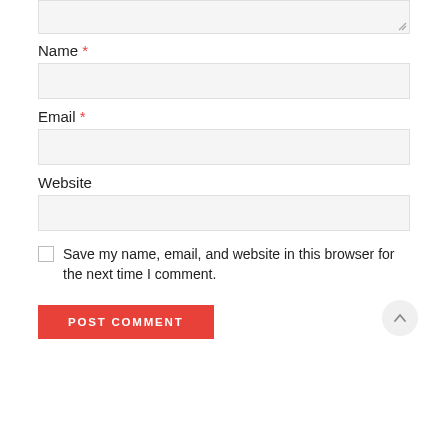[Figure (screenshot): Top portion of a textarea input box with a resize handle in the bottom-right corner, set against a light gray background.]
Name *
[Figure (screenshot): Name text input field with light gray background.]
Email *
[Figure (screenshot): Email text input field with light gray background.]
Website
[Figure (screenshot): Website text input field with light gray background.]
Save my name, email, and website in this browser for the next time I comment.
POST COMMENT